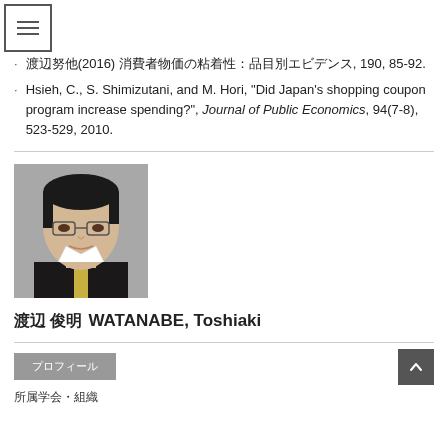渡辺努他(2016) 消費者物価の粘着性：品目別エビデンス, 190, 85-92.
Hsieh, C., S. Shimizutani, and M. Hori, "Did Japan's shopping coupon program increase spending?", Journal of Public Economics, 94(7-8), 523-529, 2010.
[Figure (photo): Headshot photo of WATANABE Toshiaki, a man in a dark suit with glasses.]
渡辺 俊明　WATANABE, Toshiaki
プロフィール
所属学会・組織